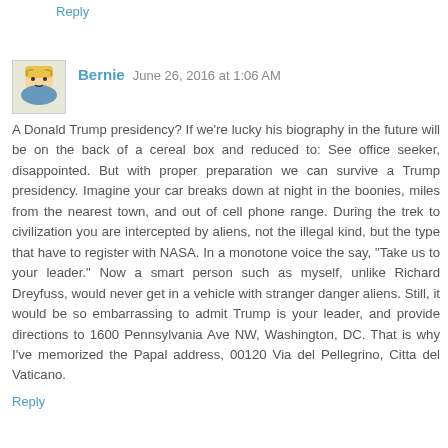Reply
Bernie  June 26, 2016 at 1:06 AM
A Donald Trump presidency? If we're lucky his biography in the future will be on the back of a cereal box and reduced to: See office seeker, disappointed. But with proper preparation we can survive a Trump presidency. Imagine your car breaks down at night in the boonies, miles from the nearest town, and out of cell phone range. During the trek to civilization you are intercepted by aliens, not the illegal kind, but the type that have to register with NASA. In a monotone voice the say, "Take us to your leader." Now a smart person such as myself, unlike Richard Dreyfuss, would never get in a vehicle with stranger danger aliens. Still, it would be so embarrassing to admit Trump is your leader, and provide directions to 1600 Pennsylvania Ave NW, Washington, DC. That is why I've memorized the Papal address, 00120 Via del Pellegrino, Citta del Vaticano.
Reply